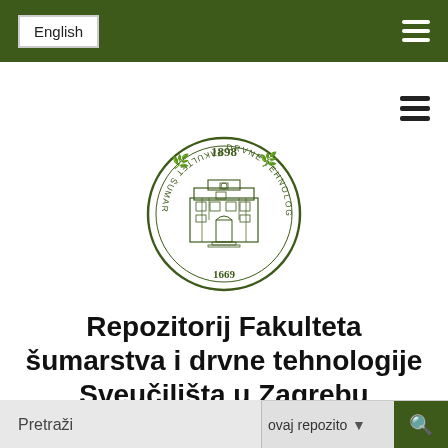English
[Figure (logo): Circular seal of Fakultet šumarstva i drvne tehnologije Sveučilišta u Zagrebu, established 1898, featuring a building in the center with text around the circle border, green color scheme]
Repozitorij Fakulteta šumarstva i drvne tehnologije Sveučilišta u Zagrebu